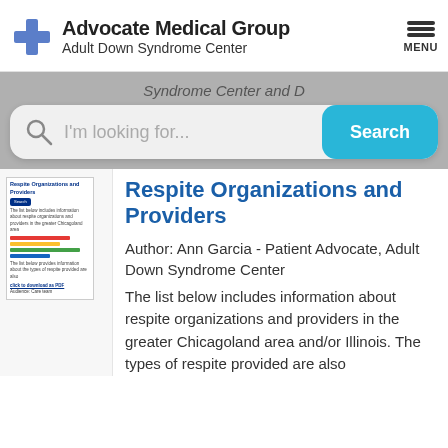[Figure (logo): Advocate Medical Group logo with blue cross icon, org name and Adult Down Syndrome Center subtitle, plus hamburger MENU button]
Syndrome Center and D
[Figure (screenshot): Search bar with magnifying glass icon, placeholder text 'I'm looking for...' and a cyan Search button]
[Figure (screenshot): Thumbnail preview of the Respite Organizations and Providers article page]
Respite Organizations and Providers
Author: Ann Garcia - Patient Advocate, Adult Down Syndrome Center
The list below includes information about respite organizations and providers in the greater Chicagoland area and/or Illinois. The types of respite provided are also